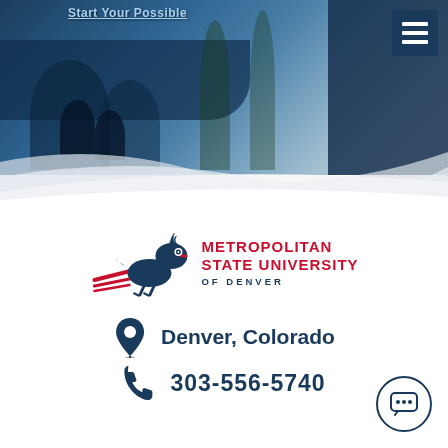[Figure (screenshot): Hero banner with dark blue overlay showing campus scene with students, 'Start Your Possible' text link at top, and hamburger menu icon in upper right corner]
[Figure (logo): Metropolitan State University of Denver logo with roadrunner bird mascot in navy and red, and university name in red and navy text]
Denver, Colorado
303-556-5740